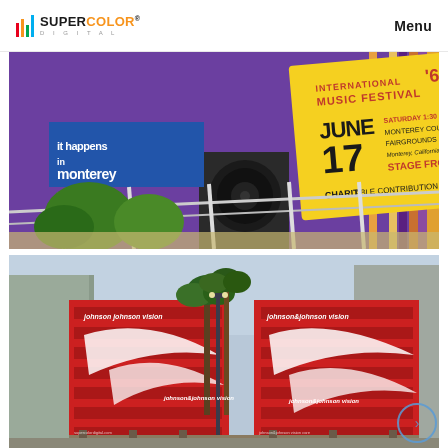SUPERCOLOR DIGITAL | Menu
[Figure (photo): Outdoor large-format print installation showing a vintage Monterey International Pop Music Festival ticket (June 1967) displayed against a purple graphic wall with 'it happens in monterey' text, featuring yellow ticket with red lettering for Monterey County Fairgrounds Stage Front event.]
[Figure (photo): Exterior building wrap installation on a multi-story parking structure showing Johnson & Johnson Vision branding in red and white with large white curved graphic elements on a red background, with palm trees and urban buildings visible.]